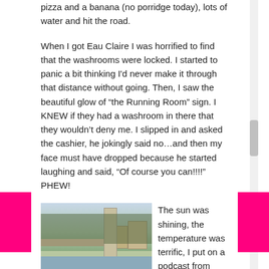pizza and a banana (no porridge today), lots of water and hit the road.
When I got Eau Claire I was horrified to find that the washrooms were locked. I started to panic a bit thinking I'd never make it through that distance without going. Then, I saw the beautiful glow of “the Running Room” sign. I KNEW if they had a washroom in there that they wouldn’t deny me. I slipped in and asked the cashier, he jokingly said no…and then my face must have dropped because he started laughing and said, “Of course you can!!!!” PHEW!
[Figure (photo): Outdoor winter photo showing a river with snow on the banks, a concrete bridge pillar, and trees in the background with buildings visible.]
The sun was shining, the temperature was terrific, I put on a podcast from Judith Briles and hit the trail along the river. The